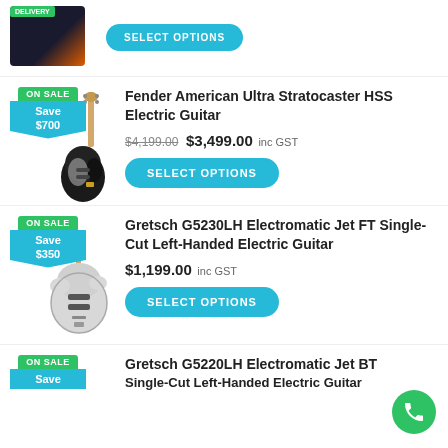[Figure (screenshot): Top partial product row showing a dark product image with delivery badge and a SELECT OPTIONS button]
[Figure (photo): Fender American Ultra Stratocaster HSS Electric Guitar product image with ON SALE / Save $700 badge]
Fender American Ultra Stratocaster HSS Electric Guitar
$4,199.00 $3,499.00 inc GST
SELECT OPTIONS
[Figure (photo): Gretsch G5230LH Electromatic Jet FT Single-Cut Left-Handed Electric Guitar product image with ON SALE / Save $350 badge]
Gretsch G5230LH Electromatic Jet FT Single-Cut Left-Handed Electric Guitar
$1,199.00 inc GST
SELECT OPTIONS
[Figure (photo): Gretsch G5220LH Electromatic Jet BT Single-Cut Left-Handed Electric Guitar product image with ON SALE / Save badge (partial)]
Gretsch G5220LH Electromatic Jet BT Single-Cut Left-Handed Electric Guitar (partial)